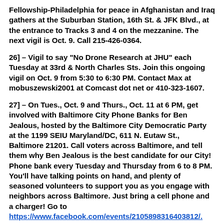Fellowship-Philadelphia for peace in Afghanistan and Iraq gathers at the Suburban Station, 16th St. & JFK Blvd., at the entrance to Tracks 3 and 4 on the mezzanine.  The next vigil is Oct. 9.  Call 215-426-0364.
26] – Vigil to say "No Drone Research at JHU" each Tuesday at 33rd & North Charles Sts. Join this ongoing vigil on Oct. 9 from 5:30  to 6:30 PM. Contact Max at mobuszewski2001 at Comcast dot net or 410-323-1607.
27] – On Tues., Oct. 9 and Thurs., Oct. 11 at 6 PM, get involved with Baltimore City Phone Banks for Ben Jealous, hosted by the Baltimore City Democratic Party at the 1199 SEIU Maryland/DC, 611 N. Eutaw St., Baltimore 21201.  Call voters across Baltimore, and tell them why Ben Jealous is the best candidate for our City!  Phone bank every Tuesday and Thursday from 6 to 8 PM.  You'll have talking points on hand, and plenty of seasoned volunteers to support you as you engage with neighbors across Baltimore. Just bring a cell phone and a charger! Go to https://www.facebook.com/events/21058983164038121/.
28] – Consider going to the annual Environmental Leadership